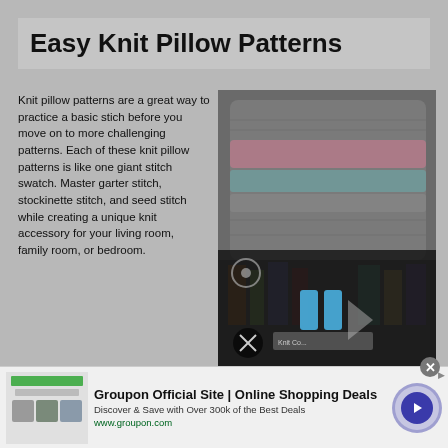Easy Knit Pillow Patterns
Knit pillow patterns are a great way to practice a basic stich before you move on to more challenging patterns. Each of these knit pillow patterns is like one giant stitch swatch. Master garter stitch, stockinette stitch, and seed stitch while creating a unique knit accessory for your living room,  family room, or bedroom.
[Figure (photo): A knitted pillow with multicolored stripes (pink, teal, grey) on a shelf, with a semi-transparent video player overlay showing play controls and a mute button.]
Simple Knit Pillow Pattern
Cush Throw Pillow
Vintage Button Pillow
Moss Green Cushion
Polar Cushion Cover
[Figure (infographic): Groupon advertisement banner: 'Groupon Official Site | Online Shopping Deals' with green logo bar, thumbnail images, and a circular arrow button]